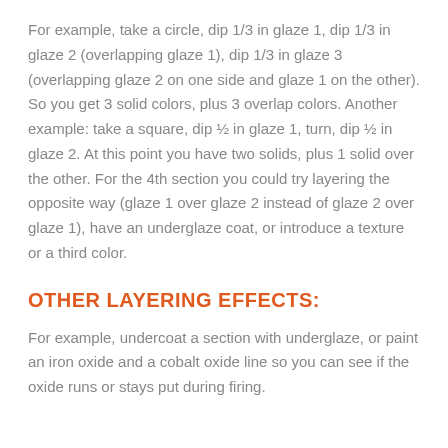For example, take a circle, dip 1/3 in glaze 1, dip 1/3 in glaze 2 (overlapping glaze 1), dip 1/3 in glaze 3 (overlapping glaze 2 on one side and glaze 1 on the other). So you get 3 solid colors, plus 3 overlap colors. Another example: take a square, dip ½ in glaze 1, turn, dip ½ in glaze 2. At this point you have two solids, plus 1 solid over the other. For the 4th section you could try layering the opposite way (glaze 1 over glaze 2 instead of glaze 2 over glaze 1), have an underglaze coat, or introduce a texture or a third color.
OTHER LAYERING EFFECTS:
For example, undercoat a section with underglaze, or paint an iron oxide and a cobalt oxide line so you can see if the oxide runs or stays put during firing.